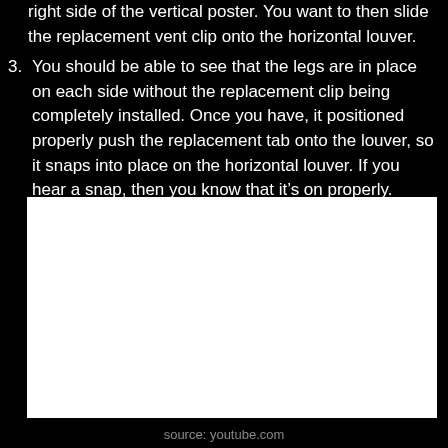3. You should be able to see that the legs are in place on each side without the replacement clip being completely installed. Once you have, it positioned properly push the replacement tab onto the louver, so it snaps into place on the horizontal louver. If you hear a snap, then you know that it's on properly.
[Figure (photo): White/blank image area on black background, representing a photo or video frame placeholder]
source: youtube.com